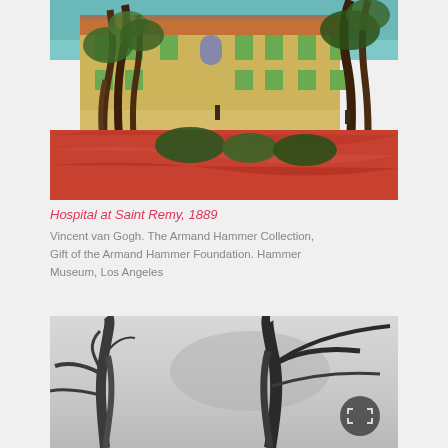[Figure (photo): Van Gogh painting 'Hospital at Saint Remy, 1889' showing a yellow building with green shutters, swirling trees with dark trunks, red/orange ground, and figures in the foreground]
Hospital at Saint Remy, 1889
Vincent van Gogh. The Armand Hammer Collection, Gift of the Armand Hammer Foundation. Hammer Museum, Los Angeles
[Figure (photo): Black and white photograph of bare tree branches against a light grey sky, with misty/foggy background. An expand/fullscreen icon button is visible in the lower right area.]